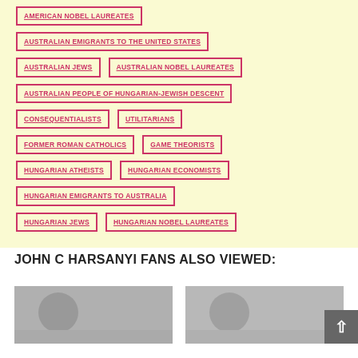AMERICAN NOBEL LAUREATES
AUSTRALIAN EMIGRANTS TO THE UNITED STATES
AUSTRALIAN JEWS
AUSTRALIAN NOBEL LAUREATES
AUSTRALIAN PEOPLE OF HUNGARIAN-JEWISH DESCENT
CONSEQUENTIALISTS
UTILITARIANS
FORMER ROMAN CATHOLICS
GAME THEORISTS
HUNGARIAN ATHEISTS
HUNGARIAN ECONOMISTS
HUNGARIAN EMIGRANTS TO AUSTRALIA
HUNGARIAN JEWS
HUNGARIAN NOBEL LAUREATES
JOHN C HARSANYI FANS ALSO VIEWED:
[Figure (photo): Black and white portrait photo on left]
[Figure (photo): Black and white portrait photo on right]